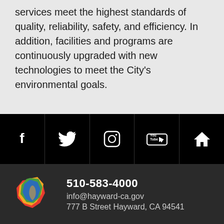services meet the highest standards of quality, reliability, safety, and efficiency. In addition, facilities and programs are continuously upgraded with new technologies to meet the City's environmental goals.
[Figure (infographic): Social media icon bar with five icons: Facebook (f), Twitter (bird), Instagram (camera), YouTube (play button with 'You Tube' label), and Home (house icon), displayed as white icons on black background]
[Figure (logo): City of Hayward logo - colorful map shape of Hayward in red, yellow, green, blue colors]
510-583-4000
info@hayward-ca.gov
777 B Street Hayward, CA 94541